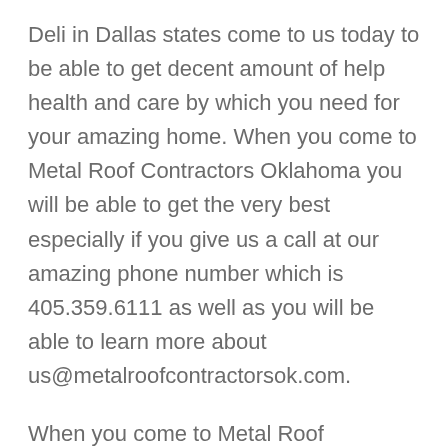Deli in Dallas states come to us today to be able to get decent amount of help health and care by which you need for your amazing home. When you come to Metal Roof Contractors Oklahoma you will be able to get the very best especially if you give us a call at our amazing phone number which is 405.359.6111 as well as you will be able to learn more about us@metalroofcontractorsok.com.
When you come to Metal Roof Contractors Oklahoma you be able to get design